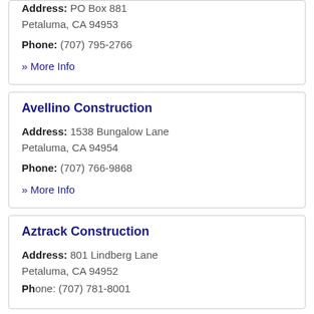Address: PO Box 881
Petaluma, CA 94953
Phone: (707) 795-2766
» More Info
Avellino Construction
Address: 1538 Bungalow Lane
Petaluma, CA 94954
Phone: (707) 766-9868
» More Info
Aztrack Construction
Address: 801 Lindberg Lane
Petaluma, CA 94952
Phone: (707) 781-8001